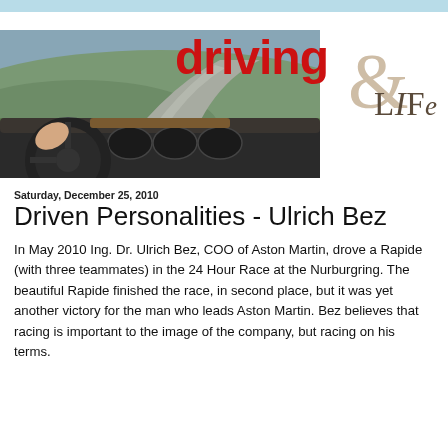[Figure (photo): Driving & Life magazine logo with car interior dashboard photo showing driver's hands on steering wheel with a winding road ahead through green hills]
Saturday, December 25, 2010
Driven Personalities - Ulrich Bez
In May 2010 Ing. Dr. Ulrich Bez, COO of Aston Martin, drove a Rapide (with three teammates) in the 24 Hour Race at the Nurburgring. The beautiful Rapide finished the race, in second place, but it was yet another victory for the man who leads Aston Martin. Bez believes that racing is important to the image of the company, but racing on his terms.